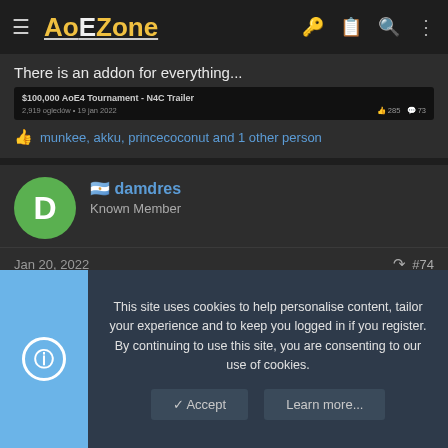AoEZone
There is an addon for everything...
[Figure (screenshot): $100,000 AoE4 Tournament - N4C Trailer video embed block, 2,919 views, 19 Jan 2022, 285 likes, 73 comments]
munkee, akku, princecoconut and 1 other person
damdres - Known Member
Jan 20, 2022  #74
This site uses cookies to help personalise content, tailor your experience and to keep you logged in if you register. By continuing to use this site, you are consenting to our use of cookies.